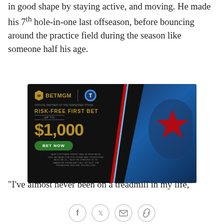in good shape by staying active, and moving. He made his 7th hole-in-one last offseason, before bouncing around the practice field during the season like someone half his age.
[Figure (other): BetMGM advertisement for Tennessee Titans – Risk-Free First Bet up to $1,000. Shows BetMGM and Titans logos, 'RISK-FREE FIRST BET UP TO $1,000', 'BET NOW' button, disclaimer text. Background shows Titans helmet on right side.]
"I've almost never been on a treadmill in my life,''
[Figure (other): Social media sharing icons: Facebook, Twitter, Email, Link]